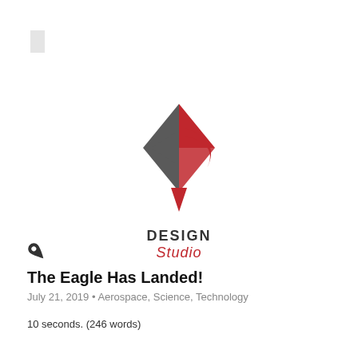[Figure (logo): Design Studio logo: a diamond shape with gray left half and red right half forming a stylized P, with text DESIGN in bold dark gray and Studio in red italic below]
[Figure (other): Pushpin / thumbtack icon in dark gray]
The Eagle Has Landed!
July 21, 2019 • Aerospace, Science, Technology
10 seconds. (246 words)